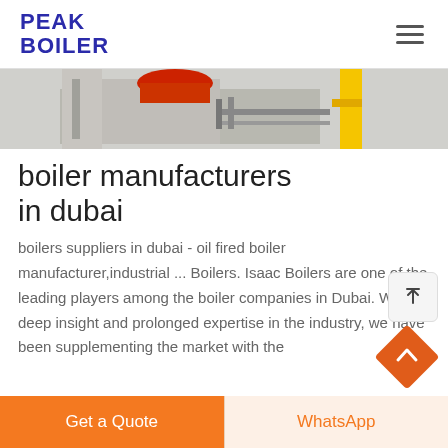PEAK BOILER
[Figure (photo): Industrial boiler machinery with yellow pipe and red components on grey floor]
boiler manufacturers in dubai
boilers suppliers in dubai - oil fired boiler manufacturer,industrial ... Boilers. Isaac Boilers are one of the leading players among the boiler companies in Dubai. With deep insight and prolonged expertise in the industry, we have been supplementing the market with the